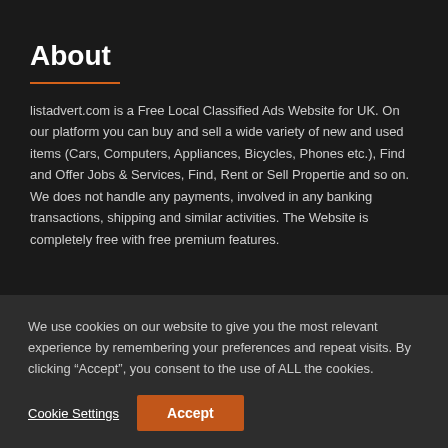About
listadvert.com is a Free Local Classified Ads Website for UK. On our platform you can buy and sell a wide variety of new and used items (Cars, Computers, Appliances, Bicycles, Phones etc.), Find and Offer Jobs & Services, Find, Rent or Sell Propertie and so on. We does not handle any payments, involved in any banking transactions, shipping and similar activities. The Website is completely free with free premium features.
We use cookies on our website to give you the most relevant experience by remembering your preferences and repeat visits. By clicking “Accept”, you consent to the use of ALL the cookies.
Cookie Settings  Accept